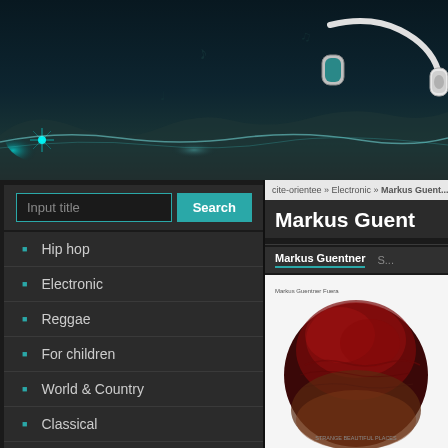[Figure (screenshot): Music website screenshot header banner with dark teal background, decorative light wave, and white/teal headphones in upper right]
[Figure (screenshot): Search input field with placeholder 'Input title' and teal Search button]
Hip hop
Electronic
Reggae
For children
World & Country
Classical
Jazz
Soul & Funk
Blues
cite-orientee » Electronic » Markus Guent...
Markus Guent...
Markus Guentner  S...
[Figure (photo): Album cover art with white background and large dark red/crimson circular abstract texture image]